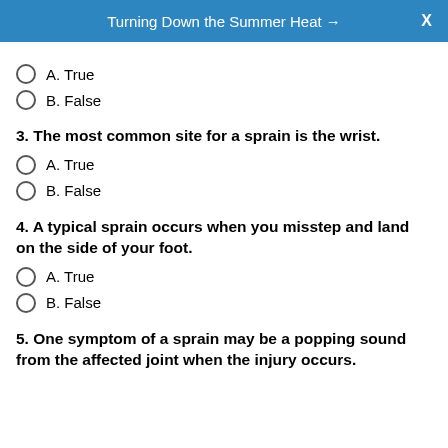Turning Down the Summer Heat →
A. True
B. False
3. The most common site for a sprain is the wrist.
A. True
B. False
4. A typical sprain occurs when you misstep and land on the side of your foot.
A. True
B. False
5. One symptom of a sprain may be a popping sound from the affected joint when the injury occurs.